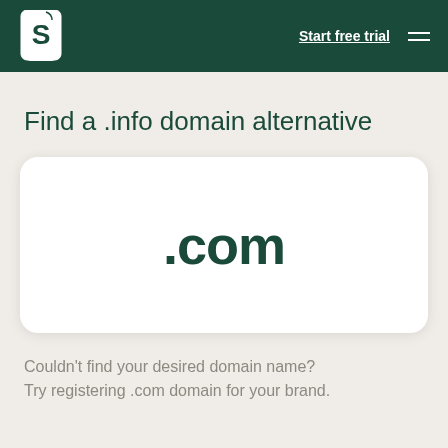Shopify logo | Start free trial | menu
Find a .info domain alternative
[Figure (other): A white rounded card displaying '.com' in large bold dark green text]
Couldn't find your desired domain name? Try registering .com domain for your brand.